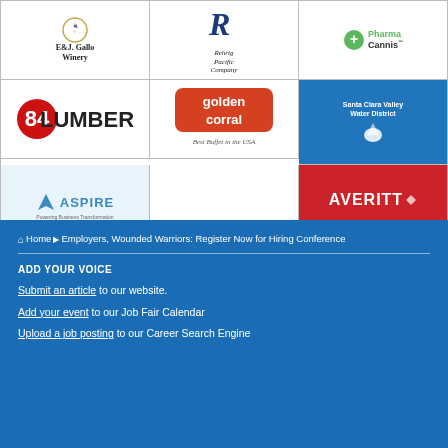[Figure (logo): Grid of employer logos: E&J Gallo Winery, Rehrig Pacific Company, Pharma Cannis, 84 Lumber, Golden Corral, Santa Clara Valley Water District, Aspire, Averitt]
Home ▶ Employers, Wounded Warriors: Register Now for Hiring Conference
ADD YOUR VOICE
Submit an article to our website.
Add your event to our Job Fair Calendar
Upload a job posting to our Career Search Engine